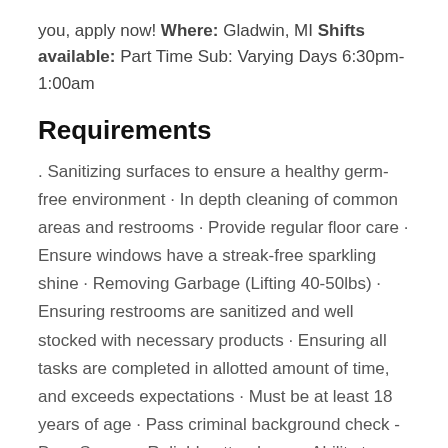you, apply now! Where: Gladwin, MI Shifts available: Part Time Sub: Varying Days 6:30pm-1:00am
Requirements
. Sanitizing surfaces to ensure a healthy germ-free environment · In depth cleaning of common areas and restrooms · Provide regular floor care · Ensure windows have a streak-free sparkling shine · Removing Garbage (Lifting 40-50lbs) · Ensuring restrooms are sanitized and well stocked with necessary products · Ensuring all tasks are completed in allotted amount of time, and exceeds expectations · Must be at least 18 years of age · Pass criminal background check -Drug Screen · Reliable attendance · Ability to stand for long periods of time, lift 50lbs · Understanding and executing verbal and written instructions · Ability to work independently as